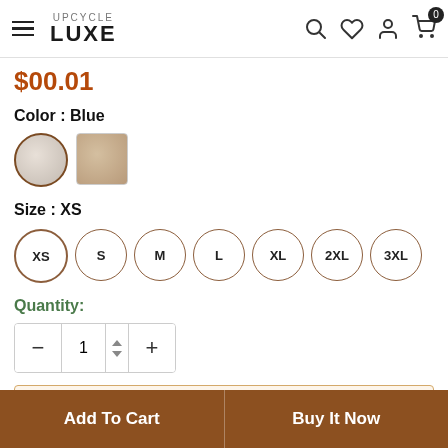UPCYCLE LUXE
$00.01
Color : Blue
[Figure (illustration): Two circular color swatches: first selected white/grey swatch with dark border, second beige/tan swatch]
Size : XS
[Figure (illustration): Row of circular size selector buttons: XS (selected), S, M, L, XL, 2XL, 3XL]
Quantity:
[Figure (illustration): Quantity selector control with minus button, value 1, up/down arrows, and plus button]
IMPACT INDEX
See the positive impact of choosing this
Add To Cart
Buy It Now